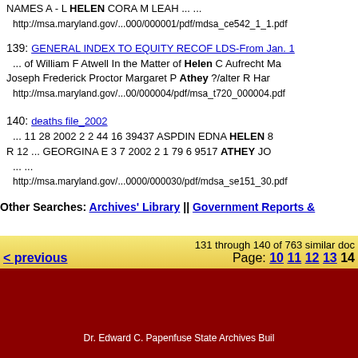NAMES A - L HELEN CORA M LEAH ... ...
http://msa.maryland.gov/...000/000001/pdf/mdsa_ce542_1_1.pdf
139: GENERAL INDEX TO EQUITY RECOF LDS-From Jan. 1
... of William F Atwell In the Matter of Helen C Aufrecht Ma Joseph Frederick Proctor Margaret P Athey ?/alter R Har
http://msa.maryland.gov/...00/000004/pdf/msa_t720_000004.pdf
140: deaths file_2002
... 11 28 2002 2 2 44 16 39437 ASPDIN EDNA HELEN 8 R 12 ... GEORGINA E 3 7 2002 2 1 79 6 9517 ATHEY JO
... ...
http://msa.maryland.gov/...0000/000030/pdf/mdsa_se151_30.pdf
Other Searches: Archives' Library || Government Reports &
131 through 140 of 763 similar do
< previous  Page: 10 11 12 13 14
Dr. Edward C. Papenfuse State Archives Buil